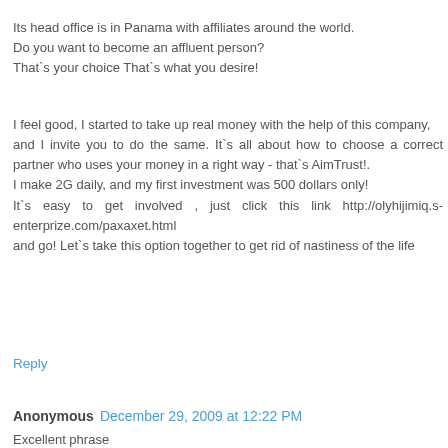Its head office is in Panama with affiliates around the world. Do you want to become an affluent person? That`s your choice That`s what you desire!
I feel good, I started to take up real money with the help of this company, and I invite you to do the same. It`s all about how to choose a correct partner who uses your money in a right way - that`s AimTrust!. I make 2G daily, and my first investment was 500 dollars only! It`s easy to get involved , just click this link http://olyhijimiq.s-enterprize.com/paxaxet.html and go! Let`s take this option together to get rid of nastiness of the life
Reply
Anonymous December 29, 2009 at 12:22 PM
Excellent phrase